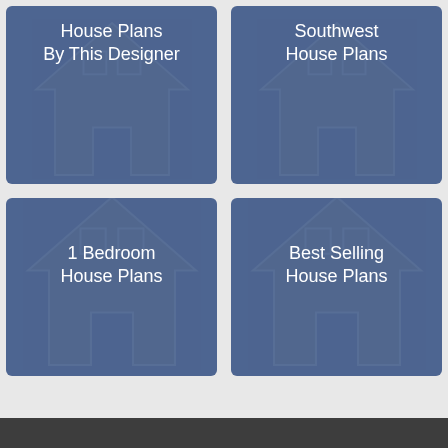[Figure (infographic): Blue card with house icon - House Plans By This Designer]
House Plans By This Designer
[Figure (infographic): Blue card with house icon - Southwest House Plans]
Southwest House Plans
[Figure (infographic): Blue card with house icon - 1 Bedroom House Plans]
1 Bedroom House Plans
[Figure (infographic): Blue card with house icon - Best Selling House Plans]
Best Selling House Plans